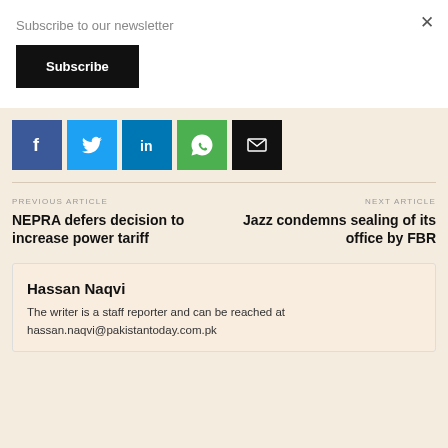Subscribe to our newsletter
Subscribe
[Figure (infographic): Row of social sharing icons: Facebook (blue), Twitter (cyan), LinkedIn (dark blue), WhatsApp (green), Email (black)]
PREVIOUS ARTICLE
NEPRA defers decision to increase power tariff
NEXT ARTICLE
Jazz condemns sealing of its office by FBR
Hassan Naqvi
The writer is a staff reporter and can be reached at hassan.naqvi@pakistantoday.com.pk